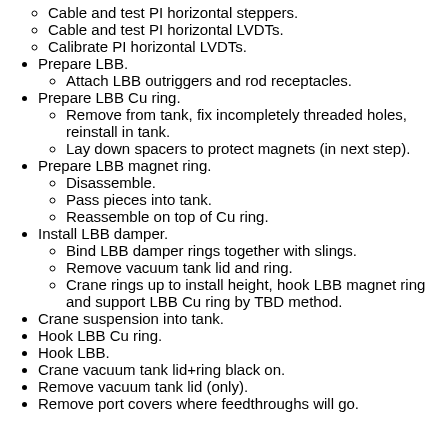Cable and test PI horizontal steppers.
Cable and test PI horizontal LVDTs.
Calibrate PI horizontal LVDTs.
Prepare LBB.
Attach LBB outriggers and rod receptacles.
Prepare LBB Cu ring.
Remove from tank, fix incompletely threaded holes, reinstall in tank.
Lay down spacers to protect magnets (in next step).
Prepare LBB magnet ring.
Disassemble.
Pass pieces into tank.
Reassemble on top of Cu ring.
Install LBB damper.
Bind LBB damper rings together with slings.
Remove vacuum tank lid and ring.
Crane rings up to install height, hook LBB magnet ring and support LBB Cu ring by TBD method.
Crane suspension into tank.
Hook LBB Cu ring.
Hook LBB.
Crane vacuum tank lid+ring black on.
Remove vacuum tank lid (only).
Remove port covers where feedthroughs will go.